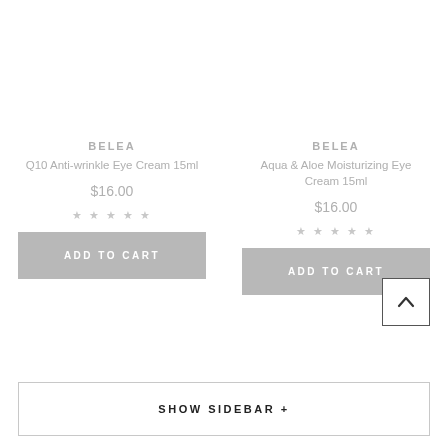BELEA
Q10 Anti-wrinkle Eye Cream 15ml
$16.00
★ ★ ★ ★ ★
ADD TO CART
BELEA
Aqua & Aloe Moisturizing Eye Cream 15ml
$16.00
★ ★ ★ ★ ★
ADD TO CART
SHOW SIDEBAR +